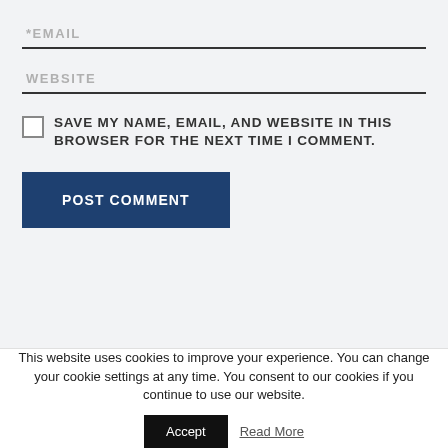*EMAIL
WEBSITE
SAVE MY NAME, EMAIL, AND WEBSITE IN THIS BROWSER FOR THE NEXT TIME I COMMENT.
POST COMMENT
This website uses cookies to improve your experience. You can change your cookie settings at any time. You consent to our cookies if you continue to use our website.
Accept
Read More